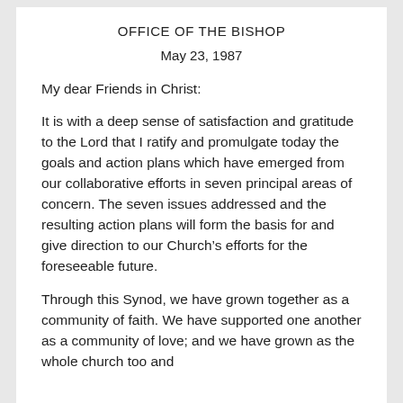OFFICE OF THE BISHOP
May 23, 1987
My dear Friends in Christ:
It is with a deep sense of satisfaction and gratitude to the Lord that I ratify and promulgate today the goals and action plans which have emerged from our collaborative efforts in seven principal areas of concern. The seven issues addressed and the resulting action plans will form the basis for and give direction to our Church’s efforts for the foreseeable future.
Through this Synod, we have grown together as a community of faith. We have supported one another as a community of love; and we have grown as the whole church too and